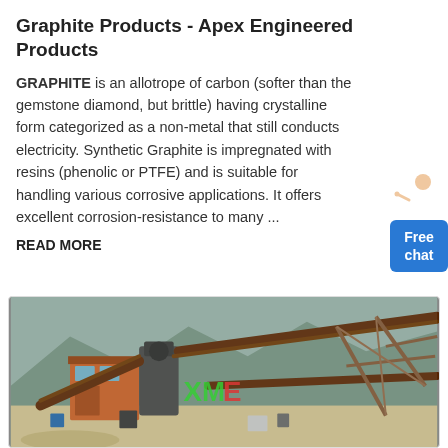Graphite Products - Apex Engineered Products
GRAPHITE is an allotrope of carbon (softer than the gemstone diamond, but brittle) having crystalline form categorized as a non-metal that still conducts electricity. Synthetic Graphite is impregnated with resins (phenolic or PTFE) and is suitable for handling various corrosive applications. It offers excellent corrosion-resistance to many ...
READ MORE
[Figure (photo): Industrial mining/crushing facility with conveyor belts, machinery, and orange building structures against a mountainous background. XME logo visible in green and red text on the equipment.]